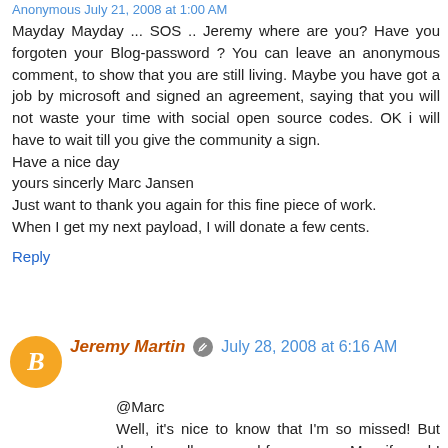Anonymous July 21, 2008 at 1:00 AM
Mayday Mayday ... SOS .. Jeremy where are you? Have you forgoten your Blog-password ? You can leave an anonymous comment, to show that you are still living. Maybe you have got a job by microsoft and signed an agreement, saying that you will not waste your time with social open source codes. OK i will have to wait till you give the community a sign.
Have a nice day
yours sincerly Marc Jansen
Just want to thank you again for this fine piece of work.
When I get my next payload, I will donate a few cents.
Reply
Jeremy Martin  July 28, 2008 at 6:16 AM
@Marc
Well, it's nice to know that I'm so missed! But there's really no need for concern. My wife and I were in the middle of a move when we had a family member go to be with the Lord - the combination of which effectively brought most other areas of our lives to a screeching halt. Fortunately life is